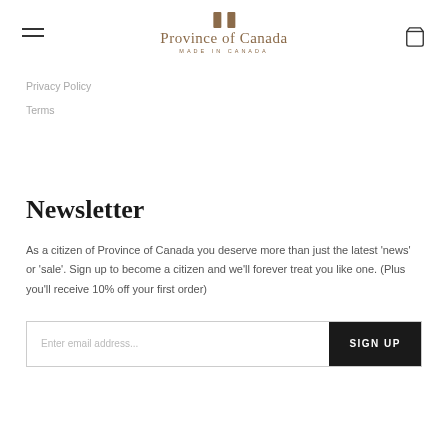Province of Canada — MADE IN CANADA
Privacy Policy
Terms
Newsletter
As a citizen of Province of Canada you deserve more than just the latest 'news' or 'sale'. Sign up to become a citizen and we'll forever treat you like one. (Plus you'll receive 10% off your first order)
Enter email address... SIGN UP